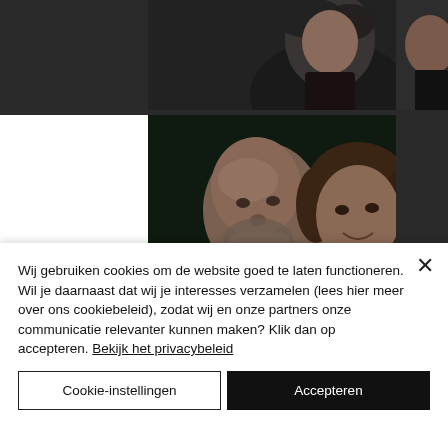[Figure (photo): Top strip: partial photo of a woman with dark curly hair wearing a dark top, dark background. Below: large photo of a bald man with beard and a woman with short brown hair, embracing, dark green/black background. Right sidebar strip also visible.]
Wij gebruiken cookies om de website goed te laten functioneren. Wil je daarnaast dat wij je interesses verzamelen (lees hier meer over ons cookiebeleid), zodat wij en onze partners onze communicatie relevanter kunnen maken? Klik dan op accepteren. Bekijk het privacybeleid
Cookie-instellingen
Accepteren